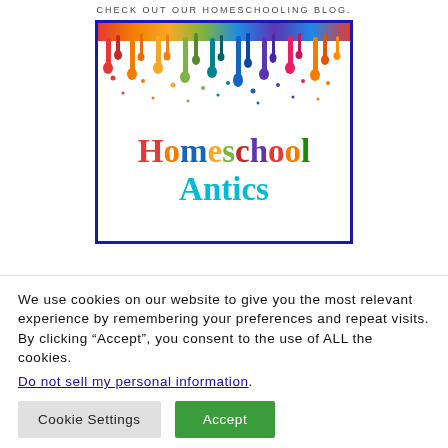CHECK OUT OUR HOMESCHOOLING BLOG.
[Figure (logo): Homeschool Antics logo with rainbow paint drips at the top and colorful text reading 'Homeschool Antics' on white background with dark blue border.]
We use cookies on our website to give you the most relevant experience by remembering your preferences and repeat visits. By clicking “Accept”, you consent to the use of ALL the cookies.
Do not sell my personal information.
Cookie Settings  Accept